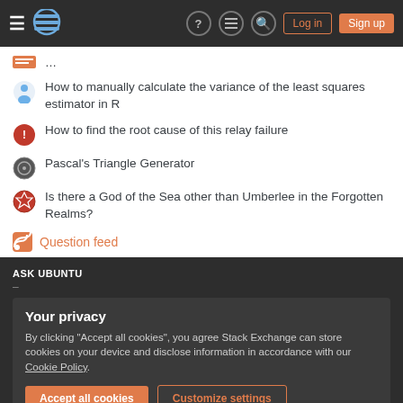Stack Exchange navigation header with Log in and Sign up buttons
How to manually calculate the variance of the least squares estimator in R
How to find the root cause of this relay failure
Pascal's Triangle Generator
Is there a God of the Sea other than Umberlee in the Forgotten Realms?
Question feed
ASK UBUNTU
Your privacy
By clicking "Accept all cookies", you agree Stack Exchange can store cookies on your device and disclose information in accordance with our Cookie Policy.
Accept all cookies   Customize settings
Technology   Culture & recreation   Life & arts   Science   Professional